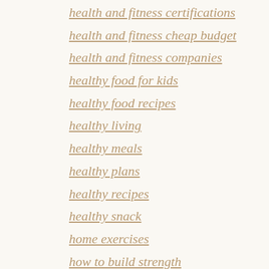health and fitness certifications
health and fitness cheap budget
health and fitness companies
healthy food for kids
healthy food recipes
healthy living
healthy meals
healthy plans
healthy recipes
healthy snack
home exercises
how to build strength
how to gain muscle
ice hockey
improve health
improve your balance
inner peace
keep healthy habits